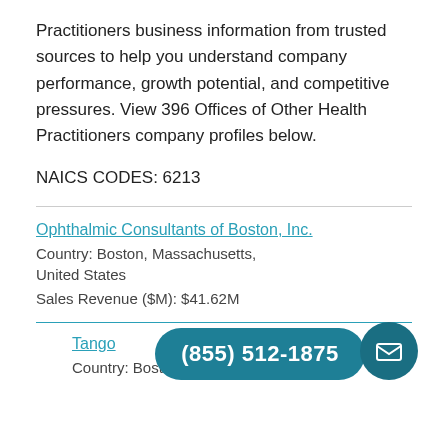Practitioners business information from trusted sources to help you understand company performance, growth potential, and competitive pressures. View 396 Offices of Other Health Practitioners company profiles below.
NAICS CODES: 6213
Ophthalmic Consultants of Boston, Inc.
Country: Boston, Massachusetts, United States
Sales Revenue ($M): $41.62M
Tango
Country: Boston, Massachusetts, United States